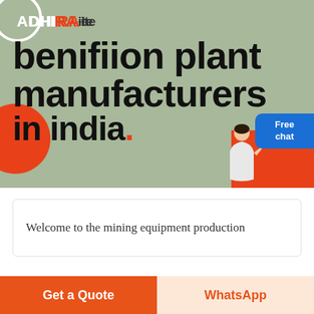[Figure (screenshot): Hero banner with sage/olive green background, decorative circles and rectangles in orange-red, ADHIRA logo, large bold headline text, person illustration, and Free chat button]
ADHIRAite benifiion plant manufacturers in india.
Welcome to the mining equipment production
Get a Quote
WhatsApp